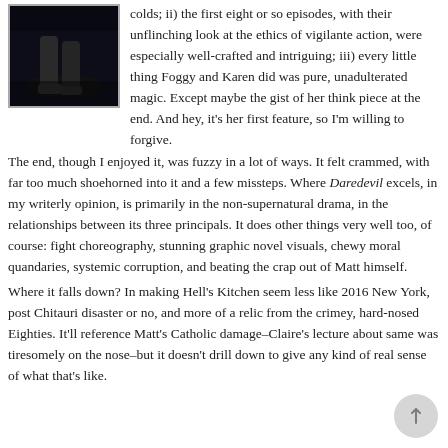[Figure (photo): Black and white photo showing feet/legs, possibly a person lying down or crouching, dark moody atmosphere]
colds; ii) the first eight or so episodes, with their unflinching look at the ethics of vigilante action, were especially well-crafted and intriguing; iii) every little thing Foggy and Karen did was pure, unadulterated magic. Except maybe the gist of her think piece at the end. And hey, it's her first feature, so I'm willing to forgive.
The end, though I enjoyed it, was fuzzy in a lot of ways. It felt crammed, with far too much shoehorned into it and a few missteps. Where Daredevil excels, in my writerly opinion, is primarily in the non-supernatural drama, in the relationships between its three principals. It does other things very well too, of course: fight choreography, stunning graphic novel visuals, chewy moral quandaries, systemic corruption, and beating the crap out of Matt himself.
Where it falls down? In making Hell's Kitchen seem less like 2016 New York, post Chitauri disaster or no, and more of a relic from the crimey, hard-nosed Eighties. It'll reference Matt's Catholic damage–Claire's lecture about same was tiresomely on the nose–but it doesn't drill down to give any kind of real sense of what that's like.